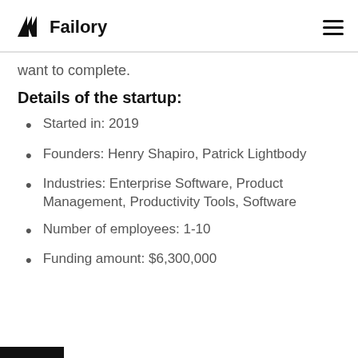Failory
want to complete.
Details of the startup:
Started in: 2019
Founders: Henry Shapiro, Patrick Lightbody
Industries: Enterprise Software, Product Management, Productivity Tools, Software
Number of employees: 1-10
Funding amount: $6,300,000